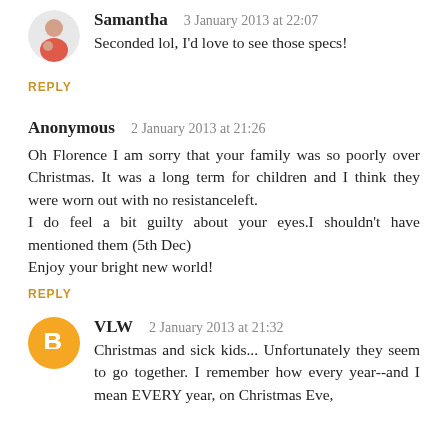Samantha  3 January 2013 at 22:07
Seconded lol, I'd love to see those specs!
REPLY
Anonymous  2 January 2013 at 21:26
Oh Florence I am sorry that your family was so poorly over Christmas. It was a long term for children and I think they were worn out with no resistanceleft.
I do feel a bit guilty about your eyes.I shouldn't have mentioned them (5th Dec)
Enjoy your bright new world!
REPLY
VLW  2 January 2013 at 21:32
Christmas and sick kids... Unfortunately they seem to go together. I remember how every year--and I mean EVERY year, on Christmas Eve,